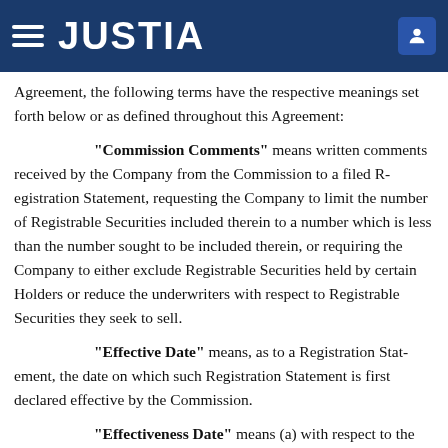JUSTIA
Agreement, the following terms have the respective meanings set forth below or as defined throughout this Agreement:
"Commission Comments" means written comments received by the Company from the Commission to a filed Registration Statement, requesting the Company to limit the number of Registrable Securities included therein to a number which is less than the number sought to be included therein, or requiring the Company to either exclude Registrable Securities held by certain Holders or reduce the underwriters with respect to Registrable Securities they seek to sell.
"Effective Date" means, as to a Registration Statement, the date on which such Registration Statement is first declared effective by the Commission.
"Effectiveness Date" means (a) with respect to the Registration Statement filed pursuant to Section 2(a), the earlier of: (i) the 210th day after the Closing Date, (ii) the fifth Trading Day following the date on which the Company is notified by the Commission that such Registration Statement will not be reviewed or is no longer subject to review, and (b) with respect to any additional Registration Statements required to be filed...